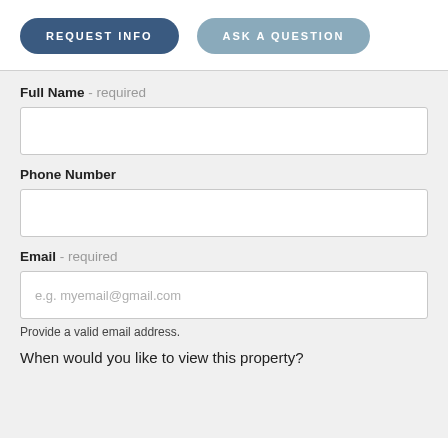REQUEST INFO
ASK A QUESTION
Full Name - required
Phone Number
Email - required
e.g. myemail@gmail.com
Provide a valid email address.
When would you like to view this property?